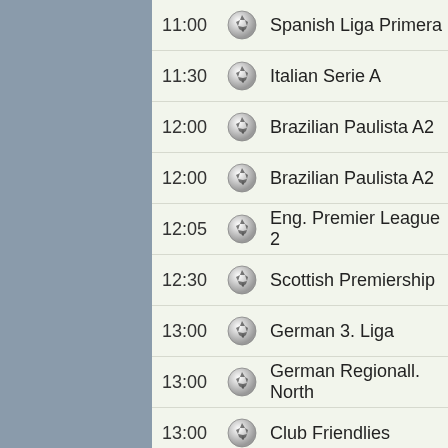11:00 Spanish Liga Primera
11:30 Italian Serie A
12:00 Brazilian Paulista A2
12:00 Brazilian Paulista A2
12:05 Eng. Premier League 2
12:30 Scottish Premiership
13:00 German 3. Liga
13:00 German Regionall. North
13:00 Club Friendlies
13:00 Greek Superleague
13:30 Italian Serie D